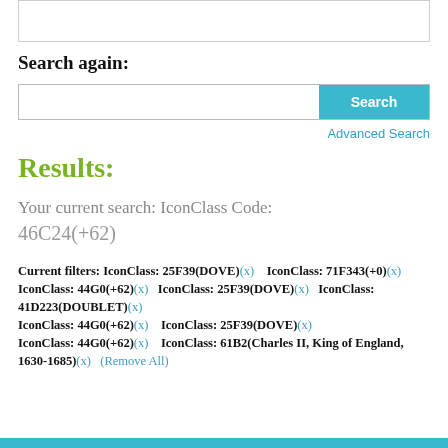Search again:
[Figure (screenshot): Search input box with cyan Search button and Advanced Search link]
Results:
Your current search: IconClass Code:
46C24(+62)
Current filters: IconClass: 25F39(DOVE)(x)   IconClass: 71F343(+0)(x)   IconClass: 44G0(+62)(x)   IconClass: 25F39(DOVE)(x)   IconClass: 41D223(DOUBLET)(x)   IconClass: 44G0(+62)(x)   IconClass: 25F39(DOVE)(x)   IconClass: 44G0(+62)(x)   IconClass: 61B2(Charles II, King of England, 1630-1685)(x)   (Remove All)